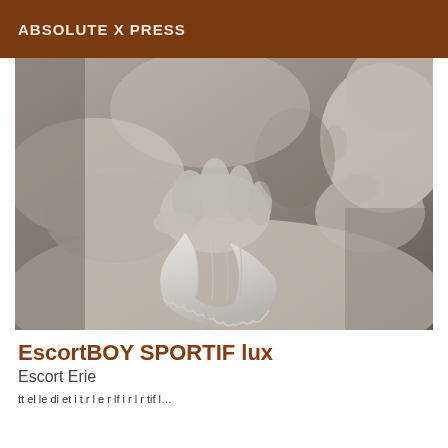ABSOLUTE X PRESS
[Figure (photo): Black and white close-up photograph of two people in an intimate embrace, one hand grasping fabric or clothing near the other person's torso, a face nuzzling near the neck/shoulder area.]
EscortBOY SPORTIF lux
Escort Erie
tt el le di et i t r l e r lf i r l r tif l